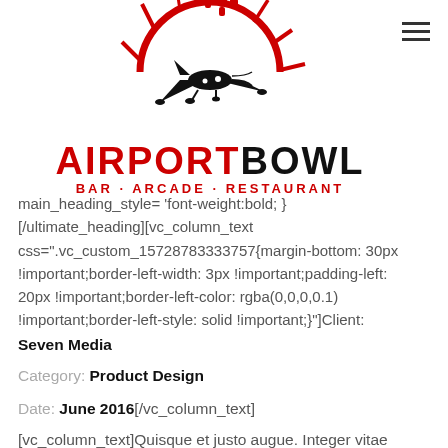[Figure (logo): Airport Bowl logo: bowling pins with red sunburst and airplane silhouette]
AIRPORT BOWL BAR · ARCADE · RESTAURANT
main_heading_style= 'font-weight:bold; }[/ultimate_heading][vc_column_text css=".vc_custom_15728783333757{margin-bottom: 30px !important;border-left-width: 3px !important;padding-left: 20px !important;border-left-color: rgba(0,0,0,0.1) !important;border-left-style: solid !important;}"]Client:
Seven Media
Category: Product Design
Date: June 2016[/vc_column_text]
[vc_column_text]Quisque et justo augue. Integer vitae